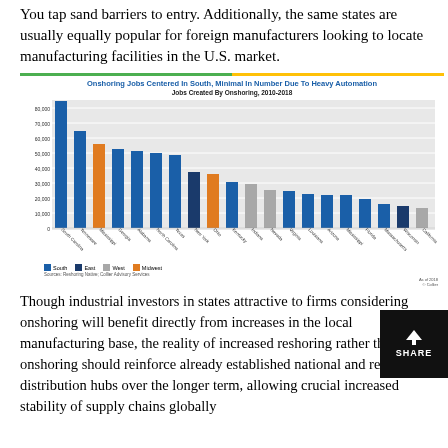You tap sand barriers to entry. Additionally, the same states are usually equally popular for foreign manufacturers looking to locate manufacturing facilities in the U.S. market.
[Figure (bar-chart): Onshoring Jobs Centered In South, Minimal In Number Due To Heavy Automation]
Though industrial investors in states attractive to firms considering onshoring will benefit directly from increases in the local manufacturing base, the reality of increased reshoring rather than onshoring should reinforce already established national and regional distribution hubs over the longer term, allowing crucial increased stability of supply chains globally